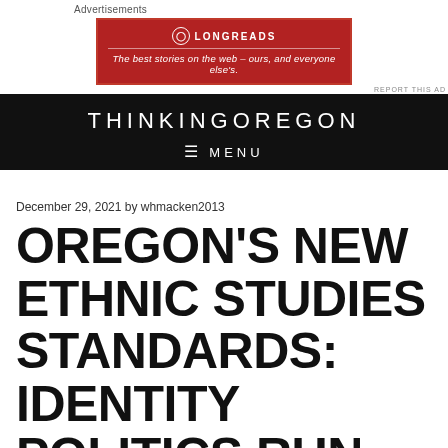Advertisements
[Figure (other): Longreads advertisement banner — red background with Longreads logo and tagline: 'The best stories on the web – ours, and everyone else's.']
THINKINGOREGON
≡ MENU
December 29, 2021 by whmacken2013
OREGON'S NEW ETHNIC STUDIES STANDARDS: IDENTITY POLITICS RUN AMOK